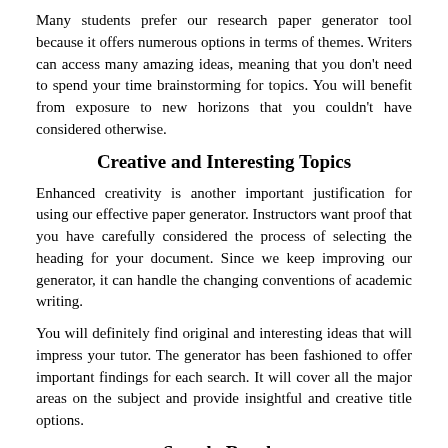Many students prefer our research paper generator tool because it offers numerous options in terms of themes. Writers can access many amazing ideas, meaning that you don't need to spend your time brainstorming for topics. You will benefit from exposure to new horizons that you couldn't have considered otherwise.
Creative and Interesting Topics
Enhanced creativity is another important justification for using our effective paper generator. Instructors want proof that you have carefully considered the process of selecting the heading for your document. Since we keep improving our generator, it can handle the changing conventions of academic writing.
You will definitely find original and interesting ideas that will impress your tutor. The generator has been fashioned to offer important findings for each search. It will cover all the major areas on the subject and provide insightful and creative title options.
Speedy Results
Another reason why people prefer to use our topic sentence maker is that it generates results almost instantly. When creating your academic assignment, time will be critical, but there may not be enough of it.